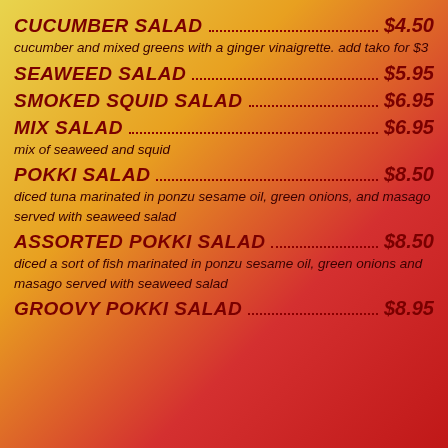CUCUMBER SALAD $4.50 — cucumber and mixed greens with a ginger vinaigrette. add tako for $3
SEAWEED SALAD $5.95
SMOKED SQUID SALAD $6.95
MIX SALAD $6.95 — mix of seaweed and squid
POKKI SALAD $8.50 — diced tuna marinated in ponzu sesame oil, green onions, and masago served with seaweed salad
ASSORTED POKKI SALAD $8.50 — diced a sort of fish marinated in ponzu sesame oil, green onions and masago served with seaweed salad
GROOVY POKKI SALAD $8.95